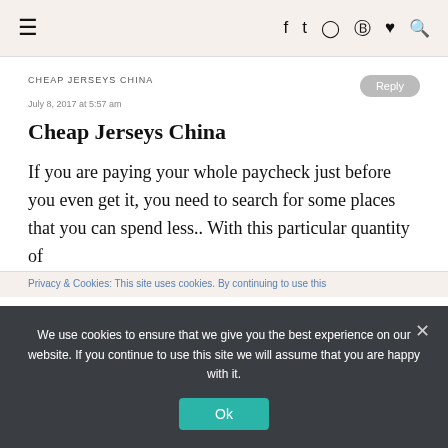≡  f  t  ⊙  ℗  ♥  🔍
CHEAP JERSEYS CHINA
July 8, 2017 at 5:57 am
Cheap Jerseys China
If you are paying your whole paycheck just before you even get it, you need to search for some places that you can spend less.. With this particular quantity of
Privacy & Cookies: This site uses cookies. By continuing to use this
We use cookies to ensure that we give you the best experience on our website. If you continue to use this site we will assume that you are happy with it.